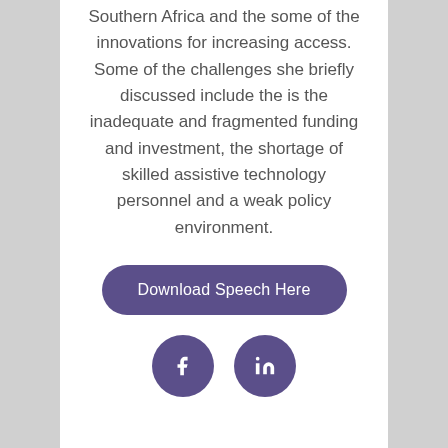Southern Africa and the some of the innovations for increasing access. Some of the challenges she briefly discussed include the is the inadequate and fragmented funding and investment, the shortage of skilled assistive technology personnel and a weak policy environment.
Download Speech Here
[Figure (other): Facebook and LinkedIn social media icon buttons (circular, purple/dark violet background with white icons)]